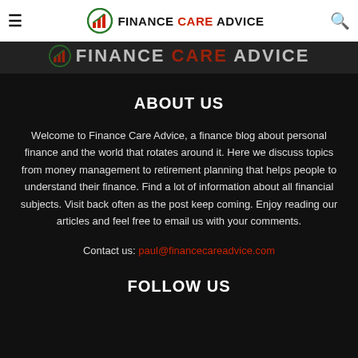FINANCE CARE ADVICE
[Figure (logo): Finance Care Advice logo partial, partially visible below header nav bar]
ABOUT US
Welcome to Finance Care Advice, a finance blog about personal finance and the world that rotates around it. Here we discuss topics from money management to retirement planning that helps people to understand their finance. Find a lot of information about all financial subjects. Visit back often as the post keep coming. Enjoy reading our articles and feel free to email us with your comments.
Contact us: paul@financecareadvice.com
FOLLOW US